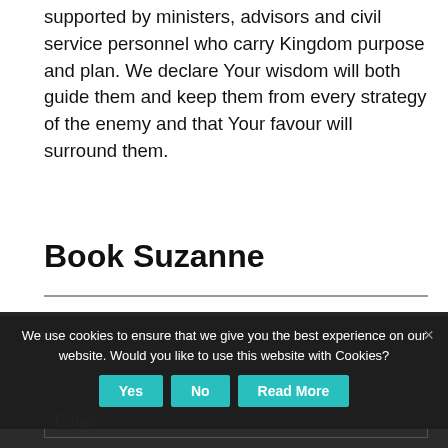supported by ministers, advisors and civil service personnel who carry Kingdom purpose and plan. We declare Your wisdom will both guide them and keep them from every strategy of the enemy and that Your favour will surround them.
Book Suzanne
We use cookies to ensure that we give you the best experience on our website. Would you like to use this website with Cookies?
Yes | No | Read More
×
Name
Email